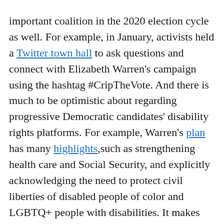important coalition in the 2020 election cycle as well. For example, in January, activists held a Twitter town hall to ask questions and connect with Elizabeth Warren's campaign using the hashtag #CripTheVote. And there is much to be optimistic about regarding progressive Democratic candidates' disability rights platforms. For example, Warren's plan has many highlights,such as strengthening health care and Social Security, and explicitly acknowledging the need to protect civil liberties of disabled people of color and LGBTQ+ people with disabilities. It makes disability a part of foreign policy by specifically positioning disability rights as international human rights. Bernie Sanders has long considered disability policy within his many other proposals. And his official disability rights platform, released at the end of January, has made waves throughout the Twitterverse for its level of ambition, clarity, and comprehensiveness. One can, therefore, be hopeful that the success of these candidates can translate into